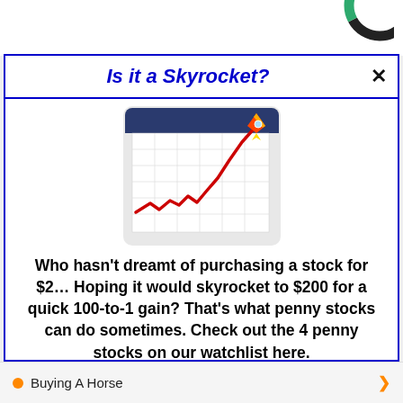[Figure (donut-chart): Partial donut/ring chart logo in top-right corner, black and green sections]
Is it a Skyrocket?
[Figure (illustration): Illustration of a stock chart with an upward-trending red line on a grid background, with a rocket in the top-right corner]
Who hasn't dreamt of purchasing a stock for $2… Hoping it would skyrocket to $200 for a quick 100-to-1 gain? That's what penny stocks can do sometimes. Check out the 4 penny stocks on our watchlist here.
>>> See The List <<<
Buying A Horse